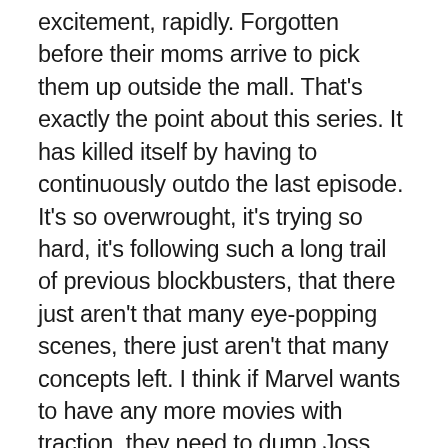excitement, rapidly. Forgotten before their moms arrive to pick them up outside the mall. That's exactly the point about this series. It has killed itself by having to continuously outdo the last episode. It's so overwrought, it's trying so hard, it's following such a long trail of previous blockbusters, that there just aren't that many eye-popping scenes, there just aren't that many concepts left. I think if Marvel wants to have any more movies with traction, they need to dump Joss Wheadon and hire Christopher Nolan, who seems to be the only guy in TinselTown who can pile on enough layers to keep modern viewers happy with action thrillers. He's managed to pull the mind-blowers out one after another for a while now; I think even his